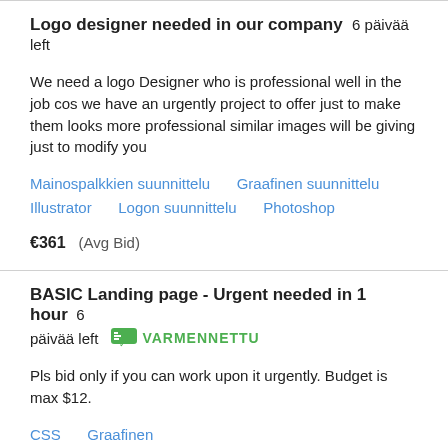Logo designer needed in our company  6 päivää left
We need a logo Designer who is professional well in the job cos we have an urgently project to offer just to make them looks more professional similar images will be giving just to modify you
Mainospalkkien suunnittelu   Graafinen suunnittelu   Illustrator   Logon suunnittelu   Photoshop
€361   (Avg Bid)
BASIC Landing page - Urgent needed in 1 hour  6 päivää left  VARMENNETTU
Pls bid only if you can work upon it urgently. Budget is max $12.
CSS   Graafinen suunnittelu   HTML   PHP   Verkkosivujen